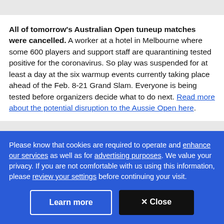All of tomorrow's Australian Open tuneup matches were cancelled. A worker at a hotel in Melbourne where some 600 players and support staff are quarantining tested positive for the coronavirus. So play was suspended for at least a day at the six warmup events currently taking place ahead of the Feb. 8-21 Grand Slam. Everyone is being tested before organizers decide what to do next. Read more about the potential disruption to the Aussie Open here.
Please know that cookies are required to operate and enhance our services as well as for advertising purposes. We value your privacy. If you are not comfortable with us using this information, please review your settings before continuing your visit.